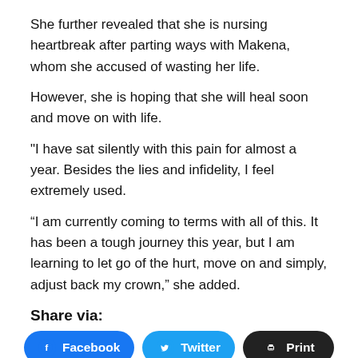She further revealed that she is nursing heartbreak after parting ways with Makena, whom she accused of wasting her life.
However, she is hoping that she will heal soon and move on with life.
"I have sat silently with this pain for almost a year. Besides the lies and infidelity, I feel extremely used.
“I am currently coming to terms with all of this. It has been a tough journey this year, but I am learning to let go of the hurt, move on and simply, adjust back my crown,” she added.
Share via:
Facebook | Twitter | Print